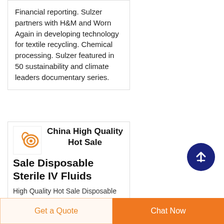Financial reporting. Sulzer partners with H&M and Worn Again in developing technology for textile recycling. Chemical processing. Sulzer featured in 50 sustainability and climate leaders documentary series.
[Figure (photo): Small product thumbnail image showing orange/red coiled tubing or IV fluid set on white background]
China High Quality Hot Sale Disposable Sterile IV Fluids
High Quality Hot Sale Disposable Sterile IV Fluids Floo...
[Figure (other): Dark navy blue circular scroll-to-top button with upward arrow icon]
Get a Quote
Chat Now